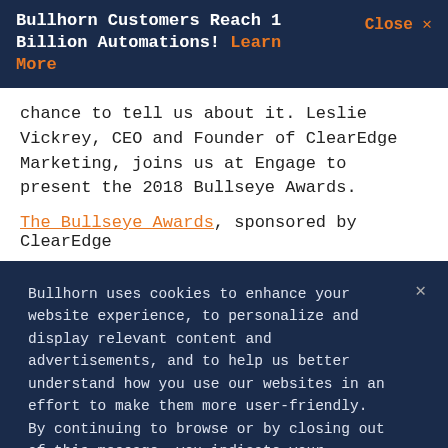Bullhorn Customers Reach 1 Billion Automations! Learn More   Close X
chance to tell us about it. Leslie Vickrey, CEO and Founder of ClearEdge Marketing, joins us at Engage to present the 2018 Bullseye Awards.
The Bullseye Awards, sponsored by ClearEdge
Bullhorn uses cookies to enhance your website experience, to personalize and display relevant content and advertisements, and to help us better understand how you use our websites in an effort to make them more user-friendly. By continuing to browse or by closing out of this message, you indicate your agreement. To set your own preferences, click "Cookie Settings" and you can learn more about the cookies we use by reviewing our cookie policy.
Cookies Settings